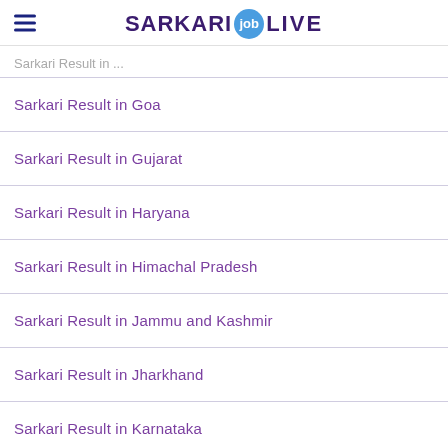SARKARI job LIVE
Sarkari Result in Goa
Sarkari Result in Gujarat
Sarkari Result in Haryana
Sarkari Result in Himachal Pradesh
Sarkari Result in Jammu and Kashmir
Sarkari Result in Jharkhand
Sarkari Result in Karnataka